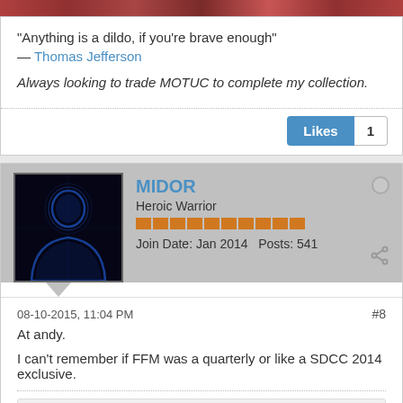[Figure (photo): Top cropped image strip showing colorful graphic]
“Anything is a dildo, if you're brave enough”
— Thomas Jefferson
Always looking to trade MOTUC to complete my collection.
Likes 1
[Figure (photo): Avatar: dark blue silhouette of a person]
MIDOR
Heroic Warrior
Join Date: Jan 2014  Posts: 541
08-10-2015, 11:04 PM
#8
At andy.
I can't remember if FFM was a quarterly or like a SDCC 2014 exclusive.
1 comment